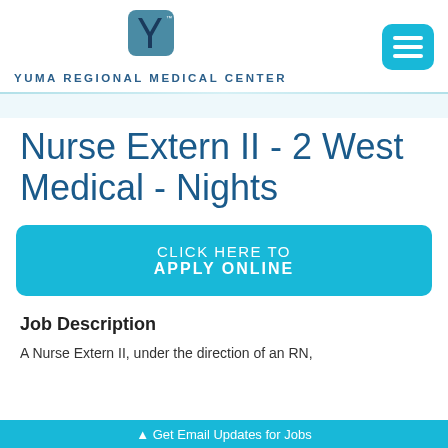[Figure (logo): Yuma Regional Medical Center logo with a stylized Y icon above the text]
Nurse Extern II - 2 West Medical - Nights
CLICK HERE TO APPLY ONLINE
Job Description
A Nurse Extern II, under the direction of an RN,
▲ Get Email Updates for Jobs